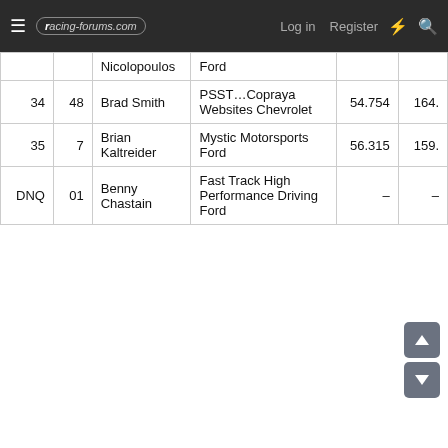racing-forums.com — Log in | Register
| Pos | # | Driver | Sponsor/Car | Time | Speed |
| --- | --- | --- | --- | --- | --- |
|  |  | Nicolopoulos | Ford |  |  |
| 34 | 48 | Brad Smith | PSST…Copraya Websites Chevrolet | 54.754 | 164. |
| 35 | 7 | Brian Kaltreider | Mystic Motorsports Ford | 56.315 | 159. |
| DNQ | 01 | Benny Chastain | Fast Track High Performance Driving Ford | – | – |